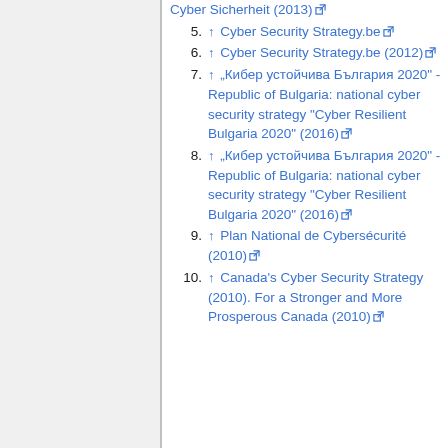↑ Cyber Sicherheit (2013) [external link]
5. ↑ Cyber Security Strategy.be [external link]
6. ↑ Cyber Security Strategy.be (2012) [external link]
7. ↑ „Кибер устойчива България 2020" - Republic of Bulgaria: national cyber security strategy "Cyber Resilient Bulgaria 2020" (2016) [external link]
8. ↑ „Кибер устойчива България 2020" - Republic of Bulgaria: national cyber security strategy "Cyber Resilient Bulgaria 2020" (2016) [external link]
9. ↑ Plan National de Cybersécurité (2010) [external link]
10. ↑ Canada's Cyber Security Strategy (2010). For a Stronger and More Prosperous Canada (2010) [external link]